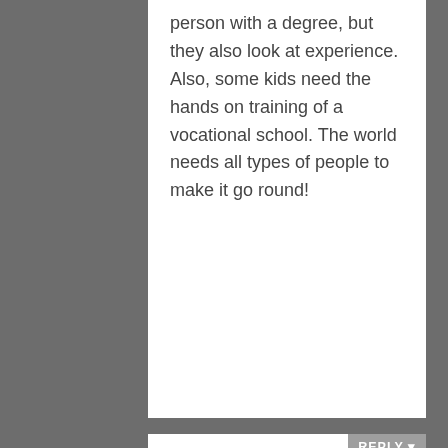person with a degree, but they also look at experience. Also, some kids need the hands on training of a vocational school. The world needs all types of people to make it go round!
GRACE says
August 29, 2011 at 3:21 pm
I didn't finish college. My husband has an associate's degree. At his current job, he has received advice from his boss that a BA degree would help him further at this company. But I don't think that applies to all